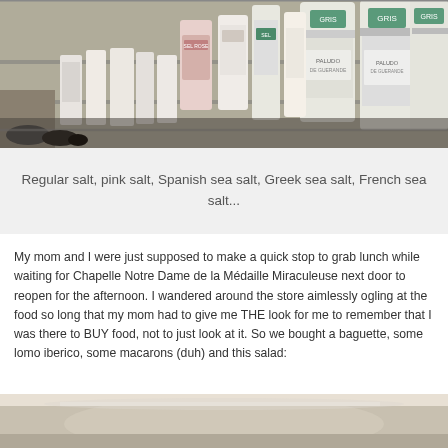[Figure (photo): Shelves stocked with various salt containers and canisters, including regular salt, pink salt, Spanish sea salt, Greek sea salt, and French sea salt (GRIS labeled containers visible).]
Regular salt, pink salt, Spanish sea salt, Greek sea salt, French sea salt...
My mom and I were just supposed to make a quick stop to grab lunch while waiting for Chapelle Notre Dame de la Médaille Miraculeuse next door to reopen for the afternoon. I wandered around the store aimlessly ogling at the food so long that my mom had to give me THE look for me to remember that I was there to BUY food, not to just look at it. So we bought a baguette, some lomo iberico, some macarons (duh) and this salad:
[Figure (photo): Bottom portion of a photo showing a salad or food item, partially visible at the bottom of the page.]